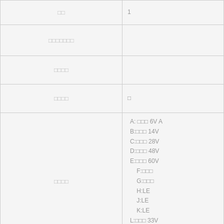| □□ | 1 |
| □□□□□□□ |  |
| □□□□ |  |
| □□□□ | □ |
| □□□□ | A: □□□ 6V A
B:□□□ 14V
C:□□□ 28V
D:□□□ 48V
E:□□□ 60V
F:□□□
G:□□□
H:LE
J:LE
K:LE
L:□□□ 33V
M:□□□ 6V
N:□□□ 14V |
| □□□□ | B:□ G:□ C |